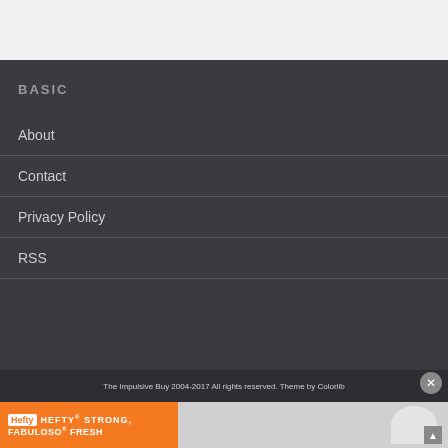BASIC
About
Contact
Privacy Policy
RSS
The Impulsive Buy 2004-2017 All rights reserved. Theme by Colorlib
[Figure (other): Advertisement banner: Hefty HEFTY STRONG, FABULOSO FRESH product ad with orange background]